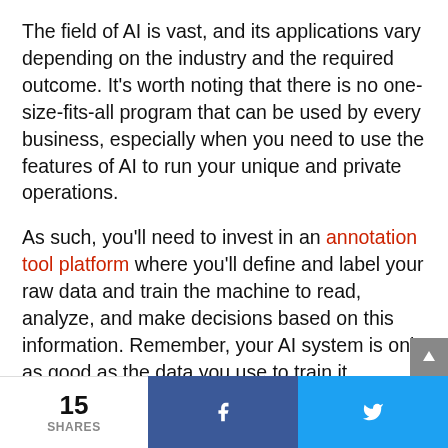The field of AI is vast, and its applications vary depending on the industry and the required outcome. It's worth noting that there is no one-size-fits-all program that can be used by every business, especially when you need to use the features of AI to run your unique and private operations.
As such, you'll need to invest in an annotation tool platform where you'll define and label your raw data and train the machine to read, analyze, and make decisions based on this information. Remember, your AI system is only as good as the data you use to train it.
15 SHARES